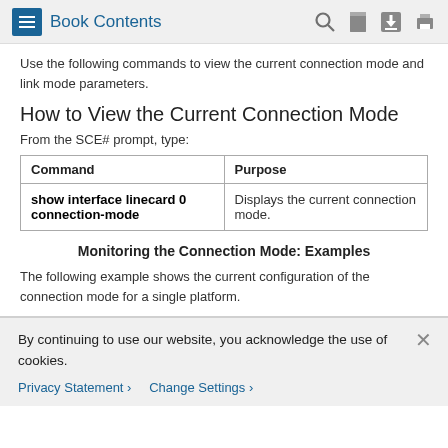Book Contents
Use the following commands to view the current connection mode and link mode parameters.
How to View the Current Connection Mode
From the SCE# prompt, type:
| Command | Purpose |
| --- | --- |
| show interface linecard 0 connection-mode | Displays the current connection mode. |
Monitoring the Connection Mode: Examples
The following example shows the current configuration of the connection mode for a single platform.
By continuing to use our website, you acknowledge the use of cookies.
Privacy Statement > Change Settings >